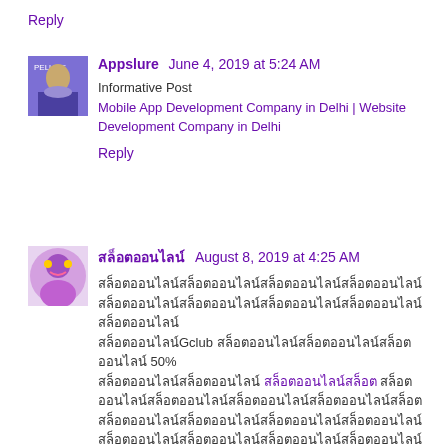Reply
Appslure  June 4, 2019 at 5:24 AM
Informative Post
Mobile App Development Company in Delhi | Website Development Company in Delhi
Reply
สล็อตออนไลน์  August 8, 2019 at 4:25 AM
สล็อตออนไลน์ข้อความภาษาไทย...Gclub ...50%
ข้อความภาษาไทย สล็อตออนไลน์ ข้อความภาษาไทย
ข้อความภาษาไทย
สล็อตออนไลน์ >>> Goldenslot
สล็อตออนไลน์ สล็อตออนไลน์ สล็อตออนไลน์
สล็อตออนไลน์ สล็อตออนไลน์ สล็อตออนไลน์ สล็อตออนไลน์ สล็อตออนไลน์
สล็อต
Reply